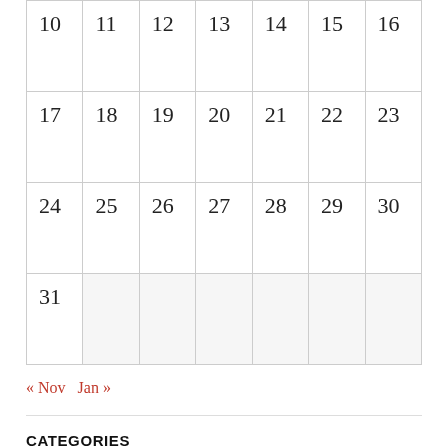| 10 | 11 | 12 | 13 | 14 | 15 | 16 |
| 17 | 18 | 19 | 20 | 21 | 22 | 23 |
| 24 | 25 | 26 | 27 | 28 | 29 | 30 |
| 31 |  |  |  |  |  |  |
« Nov   Jan »
CATEGORIES
Select Category